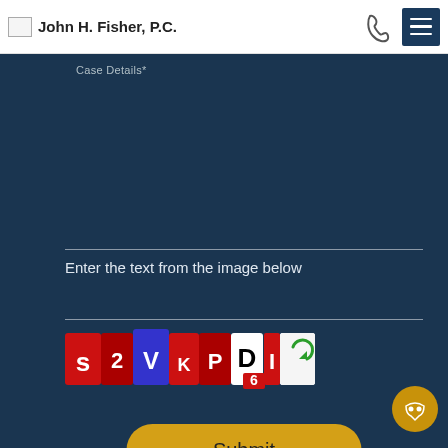John H. Fisher, P.C.
Case Details*
Enter the text from the image below
[Figure (screenshot): CAPTCHA image with characters: s 2 V K P D 6 I E on colorful red/blue background tiles, with a refresh/reload icon button at the right]
[Figure (other): Submit button — rounded yellow pill button with text 'Submit']